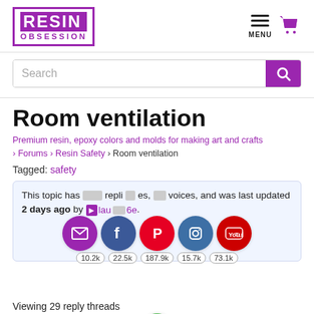[Figure (logo): Resin Obsession logo — purple box with RESIN in white and OBSESSION in purple text]
[Figure (infographic): Hamburger menu icon and shopping cart icon in purple]
Search
Room ventilation
Premium resin, epoxy colors and molds for making art and crafts › Forums › Resin Safety › Room ventilation
Tagged: safety
This topic has replies, voices, and was last updated 2 days ago by laur...6e.
[Figure (infographic): Social share icons row: email (purple), Facebook (blue), Pinterest (red), Instagram (blue), YouTube (red) with counts 10.2k, 22.5k, 187.9k, 15.7k, 73.1k]
Viewing 29 reply threads
[Figure (infographic): Green chat/help bubble icon]
Author   Posts